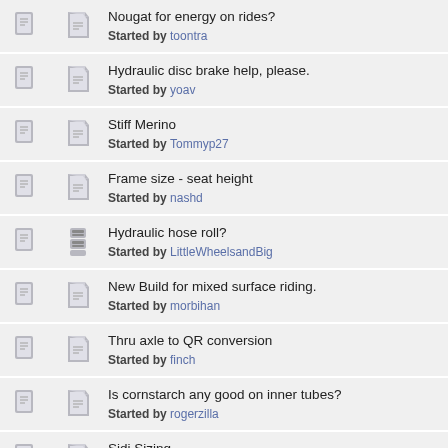Nougat for energy on rides? Started by toontra
Hydraulic disc brake help, please. Started by yoav
Stiff Merino Started by Tommyp27
Frame size - seat height Started by nashd
Hydraulic hose roll? Started by LittleWheelsandBig
New Build for mixed surface riding. Started by morbihan
Thru axle to QR conversion Started by finch
Is cornstarch any good on inner tubes? Started by rogerzilla
Sidi Sizing Started by tiermat